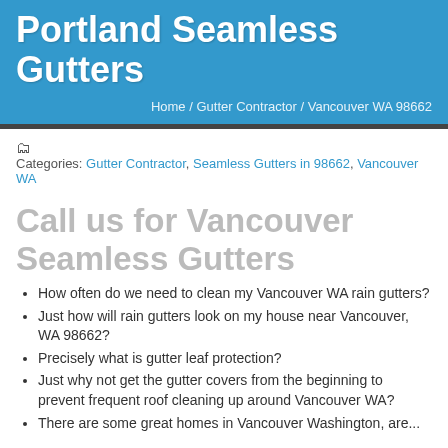Portland Seamless Gutters
Home / Gutter Contractor / Vancouver WA 98662
Categories: Gutter Contractor, Seamless Gutters in 98662, Vancouver WA
Call us for Vancouver Seamless Gutters
How often do we need to clean my Vancouver WA rain gutters?
Just how will rain gutters look on my house near Vancouver, WA 98662?
Precisely what is gutter leaf protection?
Just why not get the gutter covers from the beginning to prevent frequent roof cleaning up around Vancouver WA?
There are some great homes in Vancouver Washington, are...